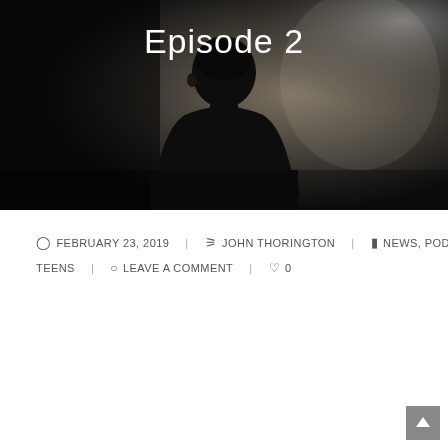[Figure (photo): Dark moody hero image showing the silhouette of a person from behind, dark background with some light in the upper right corner]
Episode 2
FEBRUARY 23, 2019  JOHN THORINGTON  NEWS, PODCAST, TEENS  LEAVE A COMMENT  0